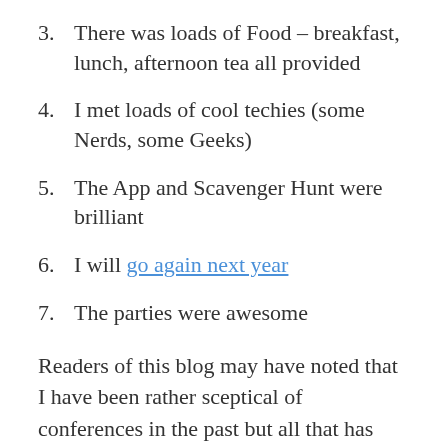3. There was loads of Food – breakfast, lunch, afternoon tea all provided
4. I met loads of cool techies (some Nerds, some Geeks)
5. The App and Scavenger Hunt were brilliant
6. I will go again next year
7. The parties were awesome
Readers of this blog may have noted that I have been rather sceptical of conferences in the past but all that has changed with my last two – Open World in San Francisco and now Kscope in